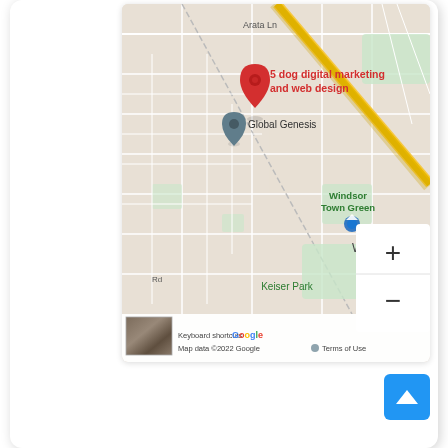[Figure (map): Google Maps screenshot showing '5 dog digital marketing and web design' location marked with a red pin, and 'Global Genesis' marked with a gray pin, in Windsor area. Shows Arata Ln, Windsor Town Green, Keiser Park, street network, zoom controls, Google logo, thumbnail, keyboard shortcuts, Map data ©2022 Google, Terms of Use.]